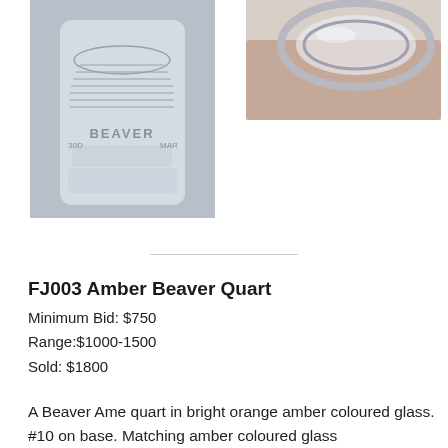[Figure (photo): Close-up photo of a clear glass jar with embossed design showing a beehive and the word BEAVER, viewed from the front]
[Figure (photo): Close-up photo of the top/rim of a clear glass jar showing the glass ring/lid opening]
FJ003 Amber Beaver Quart
Minimum Bid: $750
Range:$1000-1500
Sold: $1800
A Beaver Ame quart in bright orange amber coloured glass. #10 on base. Matching amber coloured glass